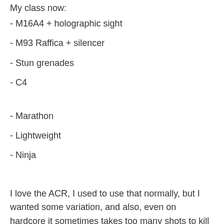My class now:
- M16A4 + holographic sight
- M93 Raffica + silencer
- Stun grenades
- C4
- Marathon
- Lightweight
- Ninja
I love the ACR, I used to use that normally, but I wanted some variation, and also, even on hardcore it sometimes takes too many shots to kill someone. I also used to carry a stinger with me by default, but I get the feeling nowadays there's usually another teammate who understands the need for anti-air, as opposed to in the beginning, so now I use the Raffica which I just think is damn cool. And now I have a